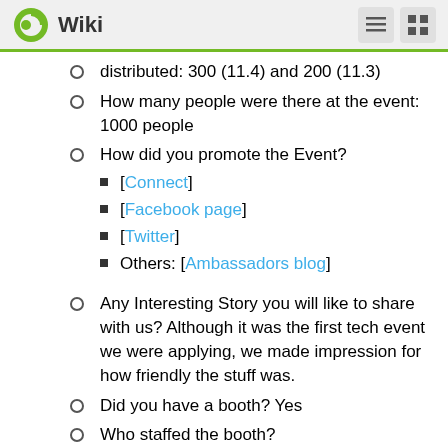Wiki
distributed: 300 (11.4) and 200 (11.3)
How many people were there at the event: 1000 people
How did you promote the Event? [Connect] [Facebook page] [Twitter] Others: [Ambassadors blog]
Any Interesting Story you will like to share with us? Although it was the first tech event we were applying, we made impression for how friendly the stuff was.
Did you have a booth? Yes
Who staffed the booth?